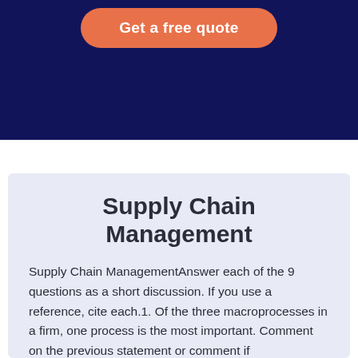[Figure (other): Dark navy blue banner with an orange rounded 'Get a free quote' button]
Supply Chain Management
Supply Chain ManagementAnswer each of the 9 questions as a short discussion. If you use a reference, cite each.1. Of the three macroprocesses in a firm, one process is the most important. Comment on the previous statement or comment if